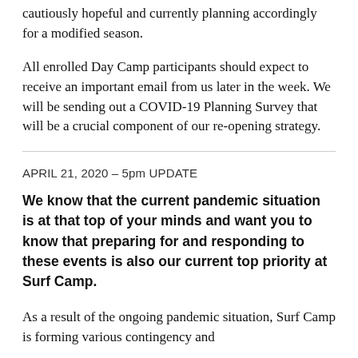cautiously hopeful and currently planning accordingly for a modified season.
All enrolled Day Camp participants should expect to receive an important email from us later in the week. We will be sending out a COVID-19 Planning Survey that will be a crucial component of our re-opening strategy.
APRIL 21, 2020 – 5pm UPDATE
We know that the current pandemic situation is at that top of your minds and want you to know that preparing for and responding to these events is also our current top priority at Surf Camp.
As a result of the ongoing pandemic situation, Surf Camp is forming various contingency and